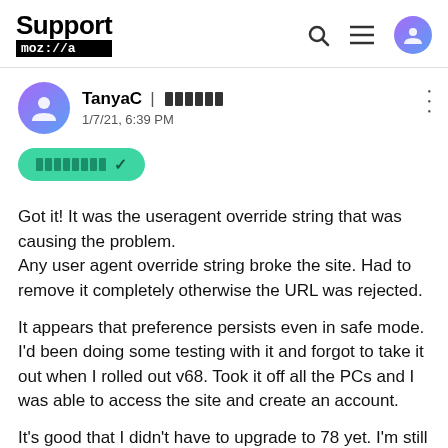Support mozilla//a
TanyaC | 1/7/21, 6:39 PM
Got it! It was the useragent override string that was causing the problem.
Any user agent override string broke the site. Had to remove it completely otherwise the URL was rejected.

It appears that preference persists even in safe mode. I'd been doing some testing with it and forgot to take it out when I rolled out v68. Took it off all the PCs and I was able to access the site and create an account.

It's good that I didn't have to upgrade to 78 yet. I'm still